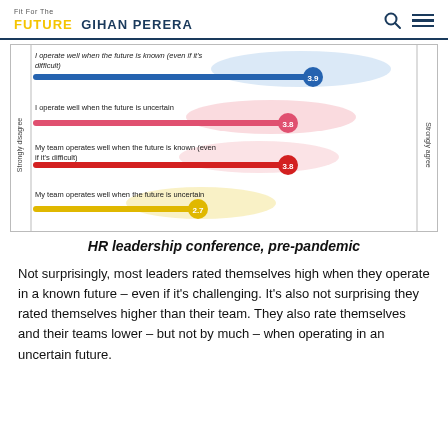Fit For The Future Gihan Perera
[Figure (bar-chart): HR leadership conference, pre-pandemic]
HR leadership conference, pre-pandemic
Not surprisingly, most leaders rated themselves high when they operate in a known future – even if it's challenging. It's also not surprising they rated themselves higher than their team. They also rate themselves and their teams lower – but not by much – when operating in an uncertain future.